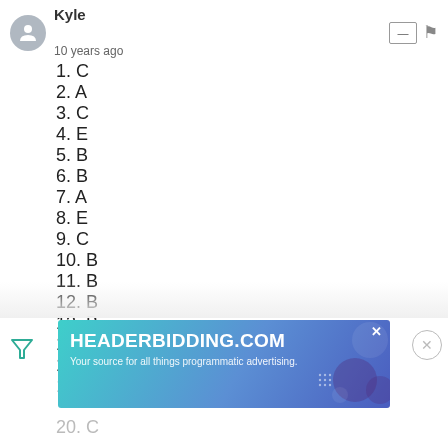Kyle
10 years ago
1. C
2. A
3. C
4. E
5. B
6. B
7. A
8. E
9. C
10. B
11. B
12. B
13. B
14. A
15. A
16. E
[Figure (screenshot): Advertisement banner for HEADERBIDDING.COM - Your source for all things programmatic advertising.]
20. C